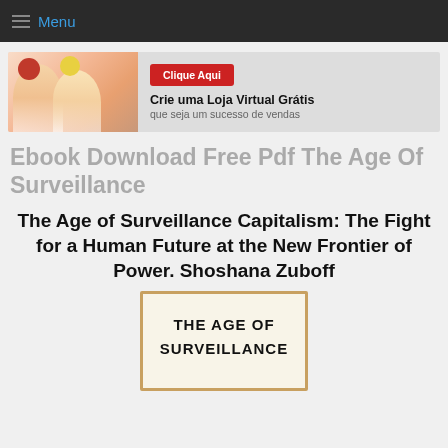Menu
[Figure (illustration): Advertisement banner showing two women with text 'Clique Aqui', 'Crie uma Loja Virtual Grátis', 'que seja um sucesso de vendas']
Ebook Download Free Pdf The Age Of Surveillance
The Age of Surveillance Capitalism: The Fight for a Human Future at the New Frontier of Power. Shoshana Zuboff
[Figure (illustration): Book cover showing text 'THE AGE OF SURVEILLANCE' in bold on a cream/beige background with a brown border]